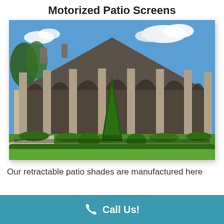Motorized Patio Screens
[Figure (photo): Exterior photo of a large stone house with motorized patio screens/shades installed under arched openings along a colonnaded porch, with manicured green shrubs and a tall conical evergreen tree in foreground, blue sky with clouds.]
Our retractable patio shades are manufactured here
Call Us!